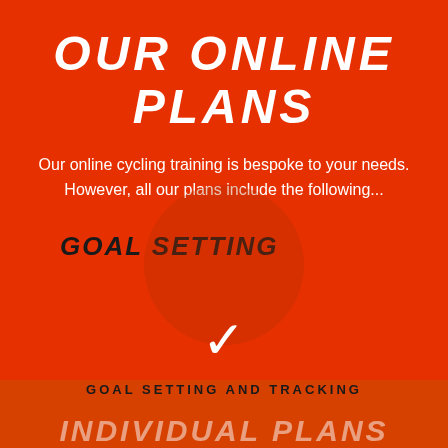OUR ONLINE PLANS
Our online cycling training is bespoke to your needs. However, all our plans include the following...
GOAL SETTING
[Figure (illustration): White checkmark icon on orange circular background]
GOAL SETTING AND TRACKING
INDIVIDUAL PLANS